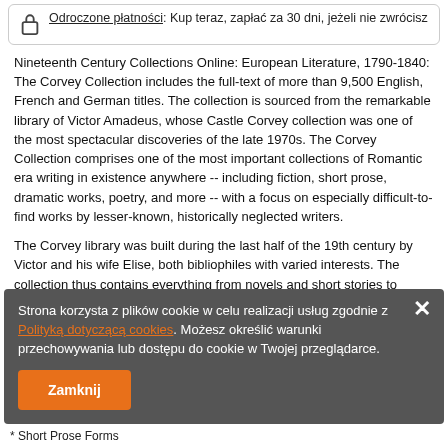Odroczone płatności: Kup teraz, zapłać za 30 dni, jeżeli nie zwrócisz
Nineteenth Century Collections Online: European Literature, 1790-1840: The Corvey Collection includes the full-text of more than 9,500 English, French and German titles. The collection is sourced from the remarkable library of Victor Amadeus, whose Castle Corvey collection was one of the most spectacular discoveries of the late 1970s. The Corvey Collection comprises one of the most important collections of Romantic era writing in existence anywhere -- including fiction, short prose, dramatic works, poetry, and more -- with a focus on especially difficult-to-find works by lesser-known, historically neglected writers.
The Corvey library was built during the last half of the 19th century by Victor and his wife Elise, both bibliophiles with varied interests. The collection thus contains everything from novels and short stories to belles lettres and more populist works, and includes many exceedingly rare works not available in any other collection from the period. These
Strona korzysta z plików cookie w celu realizacji usług zgodnie z Polityką dotyczącą cookies. Możesz określić warunki przechowywania lub dostępu do cookie w Twojej przeglądarce. Zamknij
* Short Prose Forms